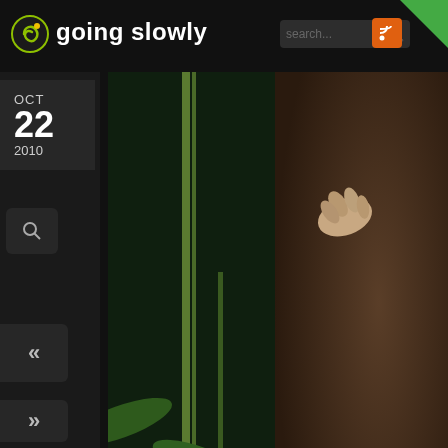going slowly
OCT 22 2010
[Figure (photo): Close-up wildlife photo showing a small furry animal (possibly a possum or small primate) clinging to bamboo or plant stems at night. The animal has brown fur and a visible hand/paw. Green leaves are visible in the lower left portion of the image.]
Even though I'm standing on a highway in a to photographer on assignment in the remote jungle of which humans have rarely seen.
Meanwhile, Tara is my eyes outside the lens. Get right above you!